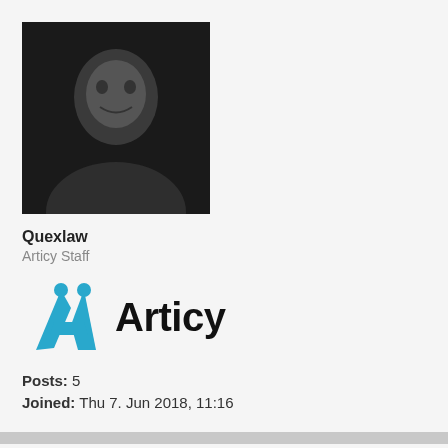[Figure (photo): Black and white profile photo of a young man]
Quexlaw
Articy Staff
[Figure (logo): Articy logo: teal/cyan stylized A icon followed by bold text 'Articy']
Posts: 5
Joined: Thu 7. Jun 2018, 11:16
Re: Generated code missing namespace
Thu 9. Apr 2020, 19:26
That is perfect, thank you. I'll let you know if I encounter any issues.